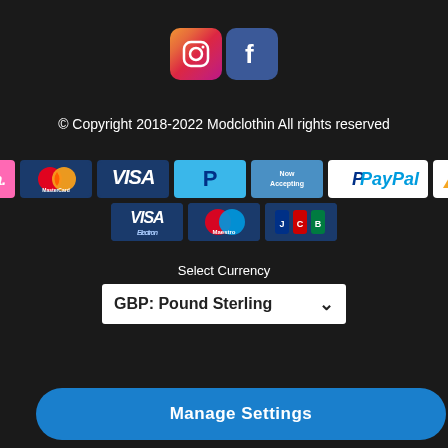[Figure (logo): Instagram and Facebook social media icons]
© Copyright 2018-2022 Modclothin All rights reserved
[Figure (infographic): Payment method logos: Klarna, MasterCard, Visa, PayPal (P), Now Accepting, PayPal, Delta, Visa Electron, Maestro, JCB]
Select Currency
[Figure (screenshot): Currency dropdown selector showing GBP: Pound Sterling]
Manage Settings